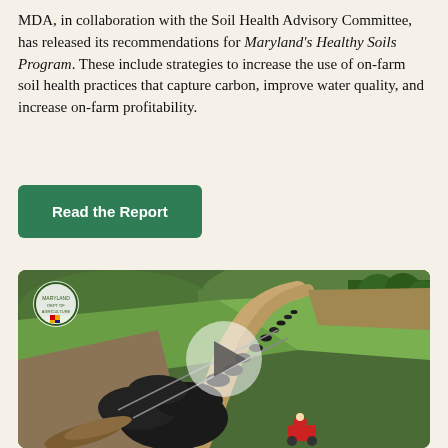MDA, in collaboration with the Soil Health Advisory Committee, has released its recommendations for Maryland's Healthy Soils Program. These include strategies to increase the use of on-farm soil health practices that capture carbon, improve water quality, and increase on-farm profitability.
Read the Report
[Figure (photo): Aerial drone photo of a large herd of black cattle moving along a dirt road through green pasture fields. A red ATV is visible behind the herd. A Maryland Department of Agriculture logo/seal is visible in the upper left corner of the image. A semi-transparent play button overlay is centered on the image, indicating this is a video thumbnail.]